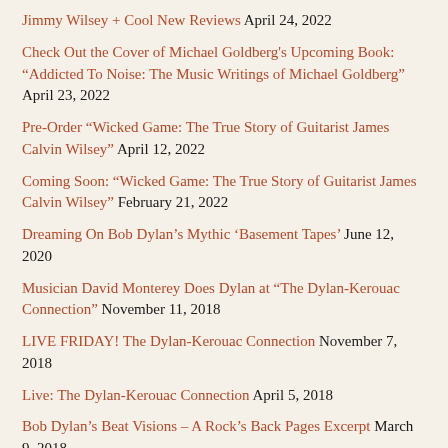Jimmy Wilsey + Cool New Reviews April 24, 2022
Check Out the Cover of Michael Goldberg's Upcoming Book: “Addicted To Noise: The Music Writings of Michael Goldberg” April 23, 2022
Pre-Order “Wicked Game: The True Story of Guitarist James Calvin Wilsey” April 12, 2022
Coming Soon: “Wicked Game: The True Story of Guitarist James Calvin Wilsey” February 21, 2022
Dreaming On Bob Dylan’s Mythic ‘Basement Tapes’ June 12, 2020
Musician David Monterey Does Dylan at “The Dylan-Kerouac Connection” November 11, 2018
LIVE FRIDAY! The Dylan-Kerouac Connection November 7, 2018
Live: The Dylan-Kerouac Connection April 5, 2018
Bob Dylan’s Beat Visions – A Rock’s Back Pages Excerpt March 9, 2018
How Jack Kerouac Influenced Bob Dylan & More February 24, 2018
Michael Goldberg’s New Novel, “Untitled,” Now Available!! July 30,